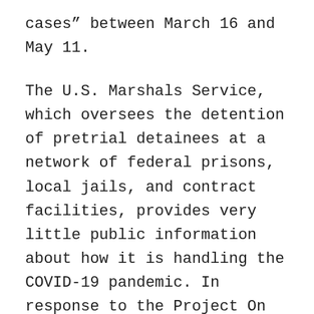cases” between March 16 and May 11.
The U.S. Marshals Service, which oversees the detention of pretrial detainees at a network of federal prisons, local jails, and contract facilities, provides very little public information about how it is handling the COVID-19 pandemic. In response to the Project On Government Oversight’s (POGO) inquiry, however, the Marshals reported that 1,213 of the approximately 57,000 prisoners in Marshals’ custody tested positive for COVID-19 as of June 8.